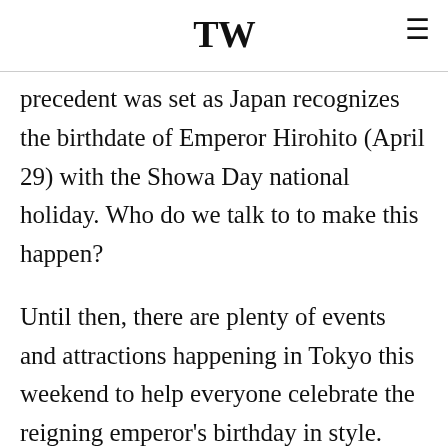TW
precedent was set as Japan recognizes the birthdate of Emperor Hirohito (April 29) with the Showa Day national holiday. Who do we talk to to make this happen?
Until then, there are plenty of events and attractions happening in Tokyo this weekend to help everyone celebrate the reigning emperor's birthday in style.